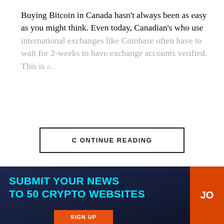Buying Bitcoin in Canada hasn't always been as easy as you might think. Even today, Canadian's who use international exchanges like Coinbase often have to wait for 2-weeks to have exchange accounts verified. This is [faded/obscured text continues]
CONTINUE READING
[Figure (logo): Bitmedia.iO logo — 'Bitmedia' on grey background and 'iO' on cyan/blue background]
Skyrocket
[Figure (screenshot): Bottom banner advertisement with dark navy background. Text: 'SUBMIT YOUR NEWS TO 50 CRYPTO WEBSITES' in cyan. Orange 'JO' button visible on right. Orange 'SIGN UP' button at bottom. X close button top right.]